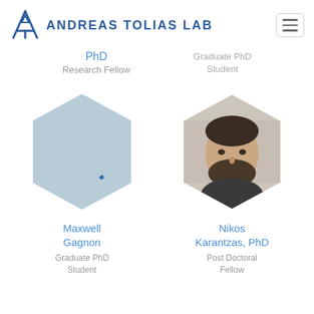[Figure (logo): Andreas Tolias Lab logo — stylized A-frame triangle icon in blue with lab name text]
PhD
Research Fellow
Graduate PhD Student
[Figure (photo): Maxwell Gagnon — placeholder hexagon with Tolias Lab logo icon (blue on light blue background)]
Maxwell Gagnon
Graduate PhD Student
[Figure (photo): Nikos Karantzas, PhD — photo of a bearded man in a gray hoodie, cropped in hexagon shape]
Nikos Karantzas, PhD
Post Doctoral Fellow